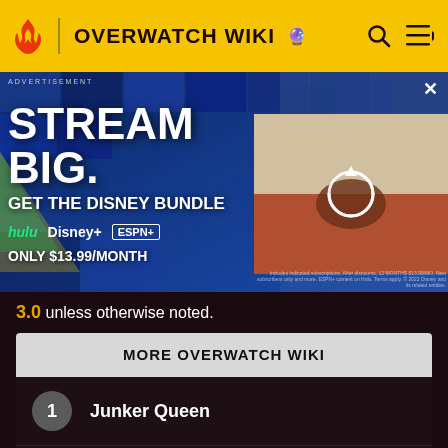OVERWATCH WIKI
[Figure (screenshot): Disney Bundle advertisement: STREAM BIG. GET THE DISNEY BUNDLE with Hulu, Disney+, ESPN+. ONLY $13.99/MONTH. Video thumbnail on right side with loading/refresh icon.]
3.0 unless otherwise noted.
MORE OVERWATCH WIKI
1 Junker Queen
2 Cassidy